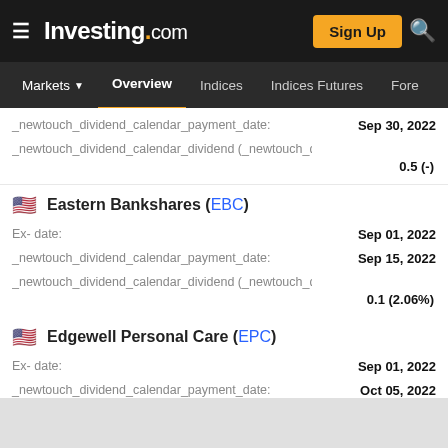Investing.com — Markets > Overview > Indices > Indices Futures > Fore...
_newtouch_dividend_calendar_payment_date: Sep 30, 2022
_newtouch_dividend_calendar_dividend (_newtouch_dividend_calendar_yield  0.5 (-)
Eastern Bankshares (EBC)
Ex- date: Sep 01, 2022
_newtouch_dividend_calendar_payment_date: Sep 15, 2022
_newtouch_dividend_calendar_dividend (_newtouch_dividend_calendar_yield  0.1 (2.06%)
Edgewell Personal Care (EPC)
Ex- date: Sep 01, 2022
_newtouch_dividend_calendar_payment_date: Oct 05, 2022
_newtouch_dividend_calendar_dividend (_newtouch_dividend_calendar_yield